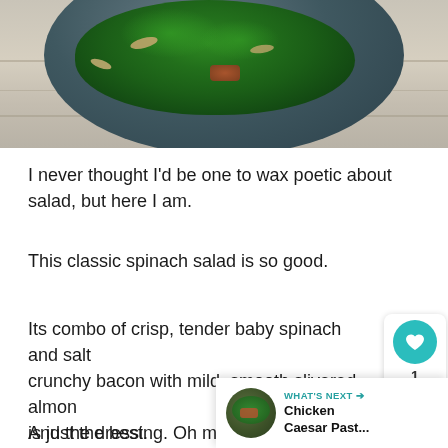[Figure (photo): A dark round plate with fresh green spinach leaves, slivered almonds, and bacon pieces on a wooden surface]
I never thought I’d be one to wax poetic about salad, but here I am.
This classic spinach salad is so good.
Its combo of crisp, tender baby spinach and salty, crunchy bacon with mild, smooth slivered almonds is just the best.
And the dressing. Oh my!